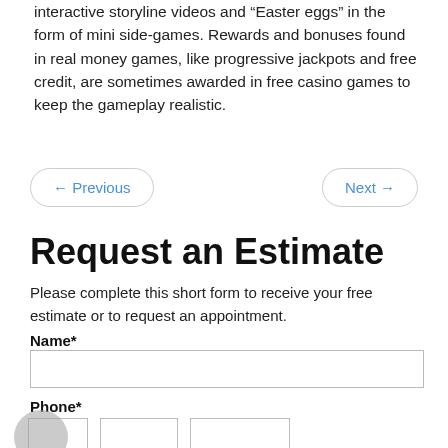interactive storyline videos and “Easter eggs” in the form of mini side-games. Rewards and bonuses found in real money games, like progressive jackpots and free credit, are sometimes awarded in free casino games to keep the gameplay realistic.
← Previous
Next →
Request an Estimate
Please complete this short form to receive your free estimate or to request an appointment.
Name*
Phone*
### ### ####